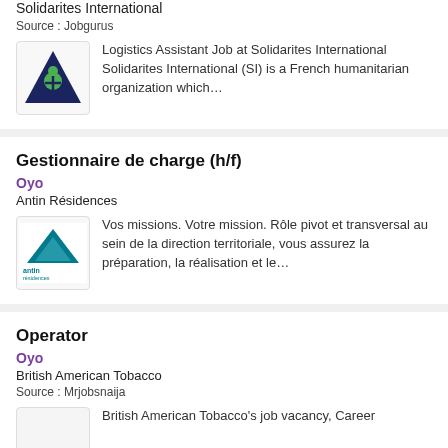Solidarites International
Source : Jobgurus
[Figure (logo): Solidarites International logo — dark blue shield/triangle with green figure icon]
Logistics Assistant Job at Solidarites International Solidarites International (SI) is a French humanitarian organization which…
Gestionnaire de charge (h/f)
Oyo
Antin Résidences
[Figure (logo): Antin Résidences logo — teal mountain/triangle graphic with 'antin résidences' text and 'groupe Arcade-Vyt' below]
Vos missions. Votre mission. Rôle pivot et transversal au sein de la direction territoriale, vous assurez la préparation, la réalisation et le…
Operator
Oyo
British American Tobacco
Source : Mrjobsnaija
[Figure (logo): British American Tobacco logo placeholder]
British American Tobacco's job vacancy, Career